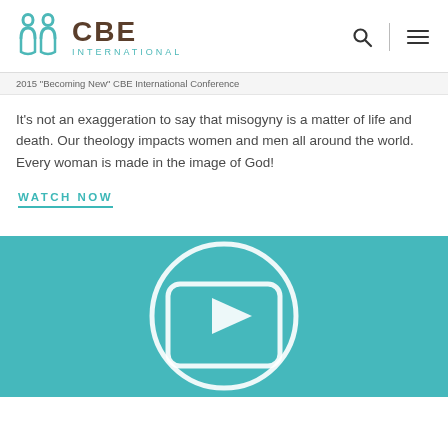CBE INTERNATIONAL
2015 "Becoming New" CBE International Conference
It's not an exaggeration to say that misogyny is a matter of life and death. Our theology impacts women and men all around the world. Every woman is made in the image of God!
WATCH NOW
[Figure (screenshot): Teal/turquoise video thumbnail with a large white circular play button icon and a rounded-rectangle play symbol in the center.]